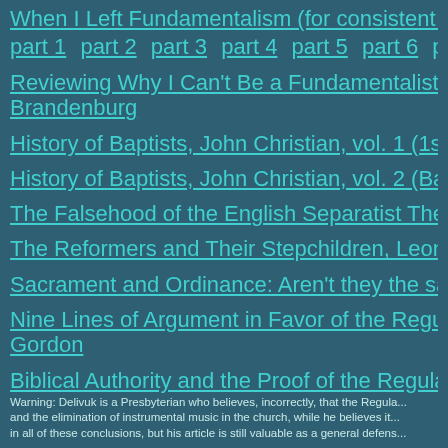When I Left Fundamentalism (for consistent Baptist se... part 1  part 2  part 3  part 4  part 5  part 6  part 7  part 8
Reviewing Why I Can't Be a Fundamentalist (but simpl... Brandenburg
History of Baptists, John Christian, vol. 1 (1st-18th Cen...
History of Baptists, John Christian, vol. 2 (Baptists in A...
The Falsehood of the English Separatist Theory of Bap...
The Reformers and Their Stepchildren, Leonard Verdu...
Sacrament and Ordinance: Aren't they the same? Jon...
Nine Lines of Argument in Favor of the Regulative Prin... Gordon
Biblical Authority and the Proof of the Regulative Princi...
Warning: Delivuk is a Presbyterian who believes, incorrectly, that the Regula... and the elimination of instrumental music in the church, while he believes it... in all of these conclusions, but his article is still valuable as a general defens...
Infant Baptism and the Regulative Principle of Worshi...